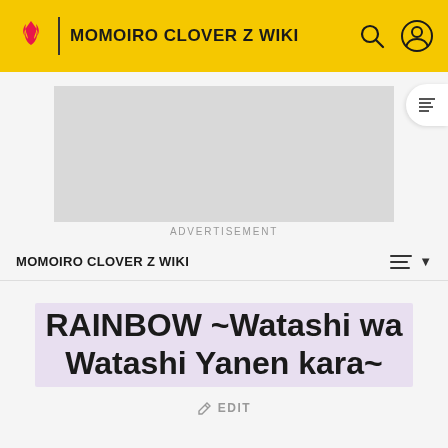MOMOIRO CLOVER Z WIKI
[Figure (other): Advertisement placeholder — grey rectangle]
ADVERTISEMENT
MOMOIRO CLOVER Z WIKI
RAINBOW ~Watashi wa Watashi Yanen kara~
EDIT